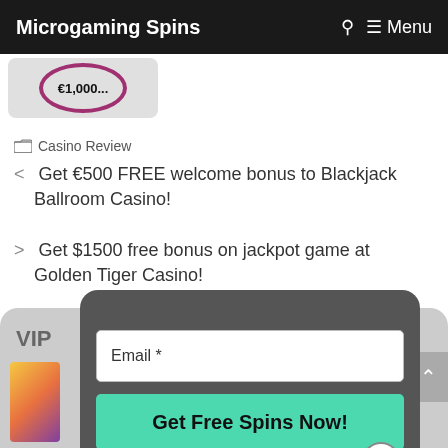Microgaming Spins  🔍  ≡ Menu
[Figure (other): Partial casino bonus card showing €1,000...]
Casino Review
< Get €500 FREE welcome bonus to Blackjack Ballroom Casino!
> Get $1500 free bonus on jackpot game at Golden Tiger Casino!
[Figure (screenshot): Email signup modal with 'Email *' field and 'Get Free Spins Now!' button on dark background overlay]
VIP
Email *
Get Free Spins Now!